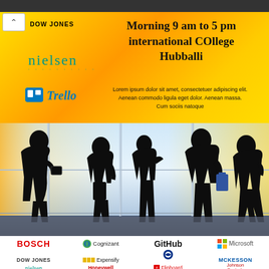Morning 9 am to 5 pm international COllege Hubballi
Lorem ipsum dolor sit amet, consectetuer adipiscing elit. Aenean commodo ligula eget dolor. Aenean massa. Cum sociis natoque
[Figure (illustration): Silhouettes of business professionals standing in front of windows with blue/orange background, logos for Dow Jones, Nielsen, and Trello visible]
[Figure (logo): Company logos grid: BOSCH, Cognizant, GitHub, Microsoft, DOW JONES, Expensify, BlueCross BlueShield, McKesson, Nielsen, Honeywell, Flipboard, Johnson Controls]